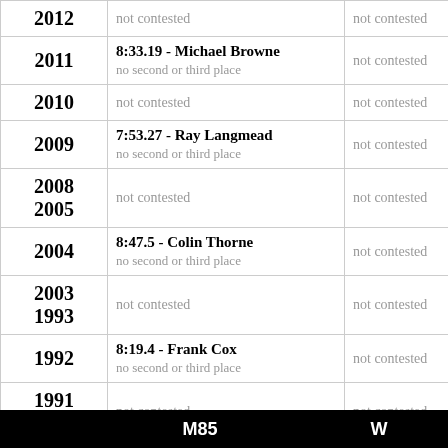| Year | First Place | Second Place |
| --- | --- | --- |
| 2012 | not contested | not contested |
| 2011 | 8:33.19 - Michael Browne
no second or third place | not contested |
| 2010 | not contested | not contested |
| 2009 | 7:53.27 - Ray Langmead
no second or third place | not contested |
| 2008
2005 | not contested | not contested |
| 2004 | 8:47.5 - Colin Thorne
no second or third place | not contested |
| 2003
1993 | not contested | not contested |
| 1992 | 8:19.4 - Frank Cox
no second or third place | not contested |
| 1991
1986 | not contested | not contested |
M85 W